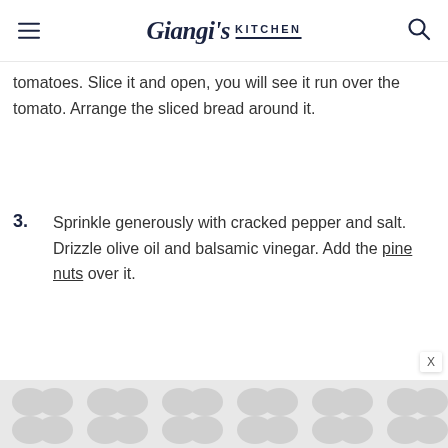Giangi's Kitchen
tomatoes. Slice it and open, you will see it run over the tomato. Arrange the sliced bread around it.
3. Sprinkle generously with cracked pepper and salt. Drizzle olive oil and balsamic vinegar. Add the pine nuts over it.